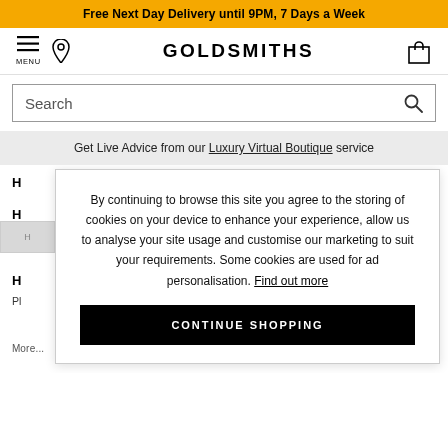Free Next Day Delivery until 9PM, 7 Days a Week
[Figure (screenshot): Goldsmiths website navigation bar with hamburger menu, location pin icon, GOLDSMITHS logo, and shopping cart icon]
Search
Get Live Advice from our Luxury Virtual Boutique service
By continuing to browse this site you agree to the storing of cookies on your device to enhance your experience, allow us to analyse your site usage and customise our marketing to suit your requirements. Some cookies are used for ad personalisation. Find out more
CONTINUE SHOPPING